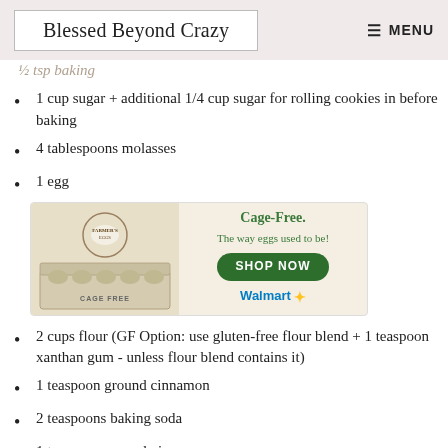Blessed Beyond Crazy   ☰ MENU
½ tsp baking
1 cup sugar + additional 1/4 cup sugar for rolling cookies in before baking
4 tablespoons molasses
1 egg
[Figure (photo): Cage-Free eggs advertisement. Shows egg carton with text: Cage-Free. The way eggs used to be! SHOP NOW button. Walmart logo.]
2 cups flour (GF Option: use gluten-free flour blend + 1 teaspoon xanthan gum - unless flour blend contains it)
1 teaspoon ground cinnamon
2 teaspoons baking soda
1 teaspoon ground ginger
1/2 teaspoon salt
[Figure (photo): Partial advertisement banner at bottom - START THE PARTY WITH text visible]